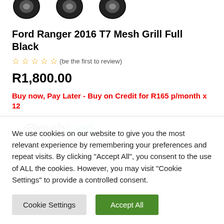[Figure (illustration): Three partial tire images at the top of the product page]
Ford Ranger 2016 T7 Mesh Grill Full Black
(be the first to review)
R1,800.00
Buy now, Pay Later - Buy on Credit for R165 p/month x 12
[Figure (logo): Mobicred logo]
7 in stock
We use cookies on our website to give you the most relevant experience by remembering your preferences and repeat visits. By clicking "Accept All", you consent to the use of ALL the cookies. However, you may visit "Cookie Settings" to provide a controlled consent.
Cookie Settings
Accept All